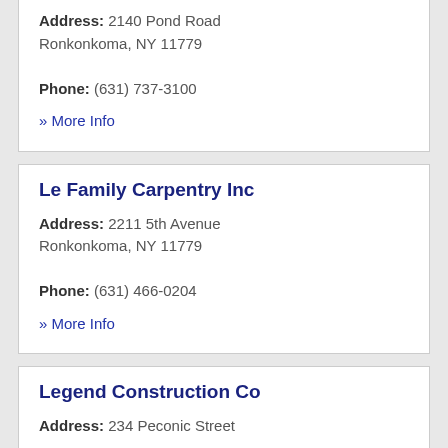Address: 2140 Pond Road Ronkonkoma, NY 11779
Phone: (631) 737-3100
» More Info
Le Family Carpentry Inc
Address: 2211 5th Avenue Ronkonkoma, NY 11779
Phone: (631) 466-0204
» More Info
Legend Construction Co
Address: 234 Peconic Street